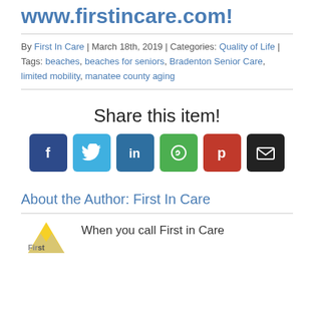FL, Seniors, please visit First In Care at: www.firstincare.com!
By First In Care | March 18th, 2019 | Categories: Quality of Life | Tags: beaches, beaches for seniors, Bradenton Senior Care, limited mobility, manatee county aging
Share this item!
[Figure (other): Social media sharing buttons: Facebook, Twitter, LinkedIn, WhatsApp, Pinterest, Email]
About the Author: First In Care
[Figure (logo): First In Care logo - yellow and grey mark]
When you call First in Care